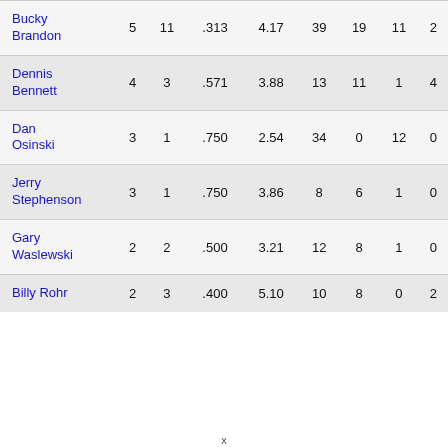| Name | W | L | PCT | ERA | G | GS | SV | SHO |
| --- | --- | --- | --- | --- | --- | --- | --- | --- |
| Bucky Brandon | 5 | 11 | .313 | 4.17 | 39 | 19 | 11 | 2 |
| Dennis Bennett | 4 | 3 | .571 | 3.88 | 13 | 11 | 1 | 4 |
| Dan Osinski | 3 | 1 | .750 | 2.54 | 34 | 0 | 12 | 0 |
| Jerry Stephenson | 3 | 1 | .750 | 3.86 | 8 | 6 | 1 | 0 |
| Gary Waslewski | 2 | 2 | .500 | 3.21 | 12 | 8 | 1 | 0 |
| Billy Rohr | 2 | 3 | .400 | 5.10 | 10 | 8 | 0 | 2 |
x